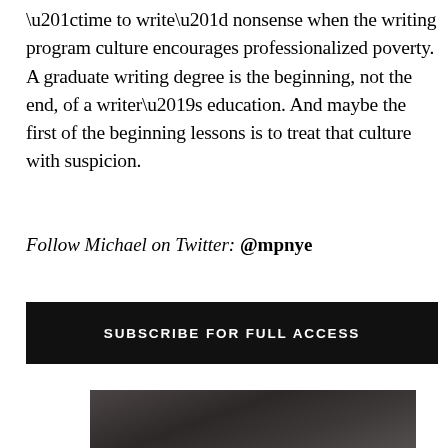“time to write” nonsense when the writing program culture encourages professionalized poverty. A graduate writing degree is the beginning, not the end, of a writer’s education. And maybe the first of the beginning lessons is to treat that culture with suspicion.
Follow Michael on Twitter: @mpnye
SUBSCRIBE FOR FULL ACCESS
[Figure (photo): Partial dark/grey textured image visible at the bottom of the page, appears to be a dark background photo cropped at the page edge.]